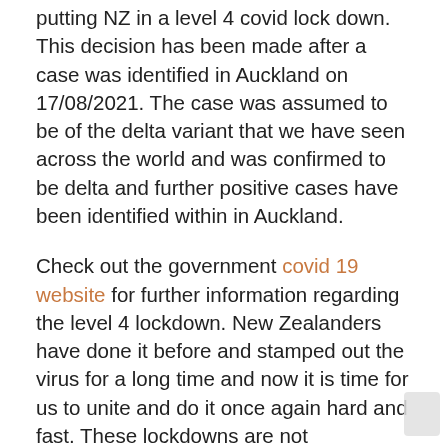putting NZ in a level 4 covid lock down. This decision has been made after a case was identified in Auckland on 17/08/2021. The case was assumed to be of the delta variant that we have seen across the world and was confirmed to be delta and further positive cases have been identified within in Auckland.
Check out the government covid 19 website for further information regarding the level 4 lockdown. New Zealanders have done it before and stamped out the virus for a long time and now it is time for us to unite and do it once again hard and fast. These lockdowns are not convenient and compared to the world we have been lucky to have it stamped out before and can do so now.